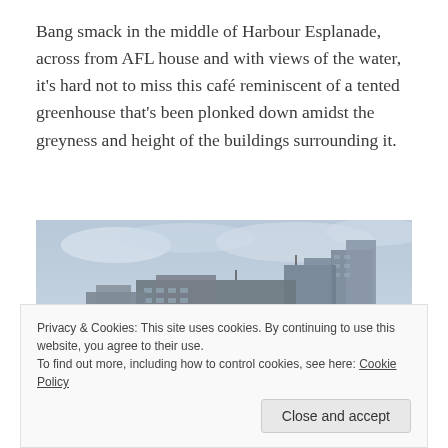Bang smack in the middle of Harbour Esplanade, across from AFL house and with views of the water, it's hard not to miss this café reminiscent of a tented greenhouse that's been plonked down amidst the greyness and height of the buildings surrounding it.
[Figure (photo): Street-level photograph of Harbour Esplanade, Melbourne, showing a row of large modern grey commercial and residential high-rise buildings under an overcast sky. In the foreground is a road with a small white tent-like structure visible at street level.]
Privacy & Cookies: This site uses cookies. By continuing to use this website, you agree to their use.
To find out more, including how to control cookies, see here: Cookie Policy